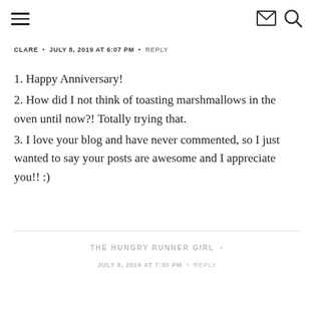[hamburger menu] [mail icon] [search icon]
CLARE • JULY 8, 2019 AT 6:07 PM • REPLY
1. Happy Anniversary!
2. How did I not think of toasting marshmallows in the oven until now?! Totally trying that.
3. I love your blog and have never commented, so I just wanted to say your posts are awesome and I appreciate you!! :)
THE HUNGRY RUNNER GIRL • JULY 8, 2019 AT 7:30 PM • REPLY